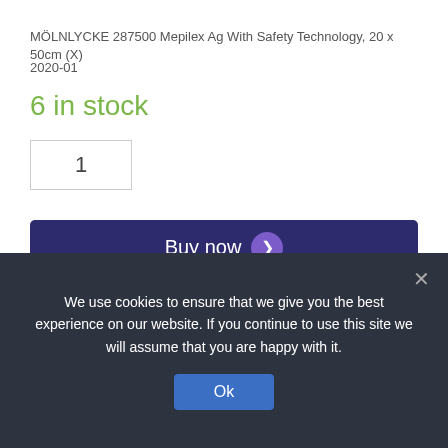MÖLNLYCKE 287500 Mepilex Ag With Safety Technology, 20 x 50cm (X)
2020-01
6 in stock
1
Buy now
— OR —
Add to cart
We use cookies to ensure that we give you the best experience on our website. If you continue to use this site we will assume that you are happy with it.
Ok